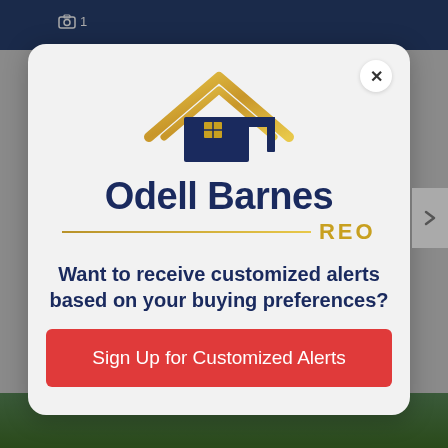[Figure (screenshot): Background showing a website/app with dark blue top navigation bar and a camera icon with number 1]
[Figure (logo): Odell Barnes REO logo — gold roof/house icon above dark navy text 'Odell Barnes' with gold line and gold 'REO' text]
Want to receive customized alerts based on your buying preferences?
Sign Up for Customized Alerts